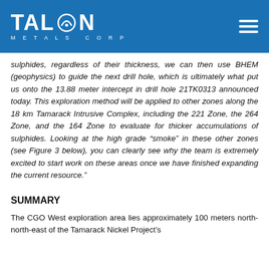Talon Metals Corp
sulphides, regardless of their thickness, we can then use BHEM (geophysics) to guide the next drill hole, which is ultimately what put us onto the 13.88 meter intercept in drill hole 21TK0313 announced today. This exploration method will be applied to other zones along the 18 km Tamarack Intrusive Complex, including the 221 Zone, the 264 Zone, and the 164 Zone to evaluate for thicker accumulations of sulphides. Looking at the high grade “smoke” in these other zones (see Figure 3 below), you can clearly see why the team is extremely excited to start work on these areas once we have finished expanding the current resource.”
SUMMARY
The CGO West exploration area lies approximately 100 meters north-north-east of the Tamarack Nickel Project’s